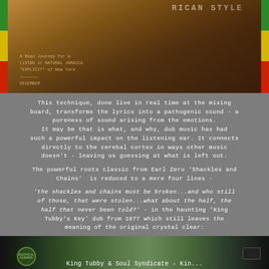[Figure (photo): Album cover photo with red/yellow/green border stripes on left and right sides, showing a man in a light shirt against a background with text including 'RICAN STYLE']
This technique, done live in real time at the mixing board, transforms the lyrics into a pathogenic sound - a pureness of sound arising from the emotions. It may be that is what, and why, dub music has had such a powerful impact on the listening ear. It connects directly to the cerebal cortex in ways other music doesn't - leaving us guessing at what is left out.
The powerful roots classic from Earl Zero 'Shackles and Chains'  is reduced to a mere four lines -
'the shackles and chains must be broken...and who still of those, that were stolen...what about the half, the half that never been told?' - in the haunting 'King Tubby's Key' dub from 1977 which still leaves the meaning of the original crystal clear:
[Figure (photo): Bottom image showing King Tubby & Soul Syndicate album/label with circular logo on left and text label reading 'King Tubby & Soul Syndicate - Kin...']